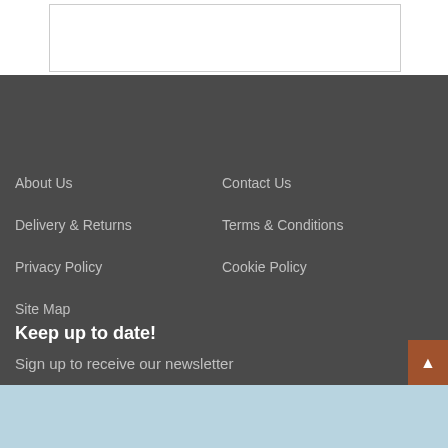[Figure (other): White top section with a bordered rectangular box]
About Us
Delivery & Returns
Privacy Policy
Site Map
Contact Us
Terms & Conditions
Cookie Policy
Keep up to date!
Sign up to receive our newsletter
This website uses cookies. By navigating around this site you consent to cookies being stored on your machine. Learn more
I understand, hide this